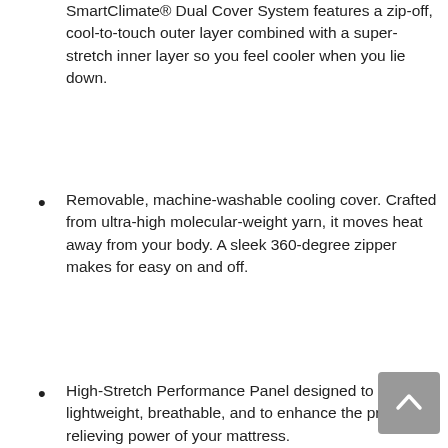SmartClimate® Dual Cover System features a zip-off, cool-to-touch outer layer combined with a super-stretch inner layer so you feel cooler when you lie down.
Removable, machine-washable cooling cover. Crafted from ultra-high molecular-weight yarn, it moves heat away from your body. A sleek 360-degree zipper makes for easy on and off.
High-Stretch Performance Panel designed to be lightweight, breathable, and to enhance the pressure-relieving power of your mattress.
Infused into the top layer of the mattress, PureCool+™ Phase Change Material is an exclusive, next-generation technology that absorbs excess heat - so you feel cooler while you fall asleep.
Comfort layer features TEMPUR-